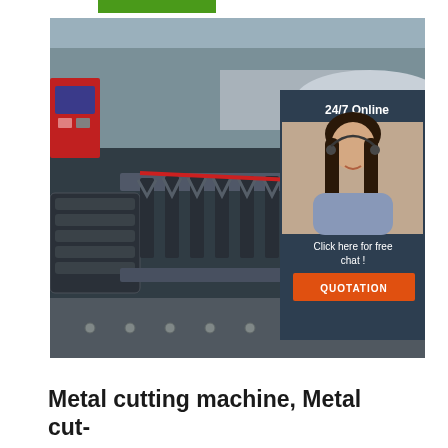[Figure (photo): Industrial metal cutting machine in a factory setting, showing CNC pipe cutting equipment with chain conveyors and rollers. An overlay widget in the top-right shows a customer service representative with headset, text reading '24/7 Online', 'Click here for free chat!', and an orange 'QUOTATION' button.]
Metal cutting machine, Metal cut-